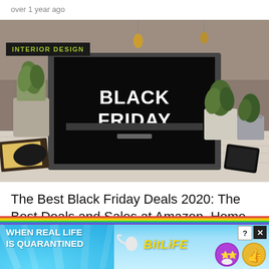over 1 year ago
[Figure (photo): Laptop on a white wooden desk with 'BLACK FRIDAY' displayed on screen, surrounded by potted plants and a phone. A green badge overlay reads 'INTERIOR DESIGN'.]
The Best Black Friday Deals 2020: The Best Deals and Sales at Amazon, Home Depot, Target, and More
[Figure (screenshot): Advertisement banner with rainbow top strip. Text reads 'WHEN REAL LIFE IS QUARANTINED' on left, BitLife logo in center with sperm icon, and emoji icons with help/close buttons on right.]